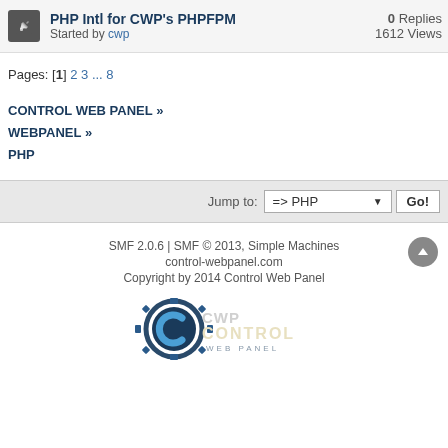PHP Intl for CWP's PHPFPM — Started by cwp — 0 Replies, 1612 Views
Pages: [1] 2 3 ... 8
CONTROL WEB PANEL » WEBPANEL » PHP
Jump to: => PHP  Go!
SMF 2.0.6 | SMF © 2013, Simple Machines
control-webpanel.com
Copyright by 2014 Control Web Panel
[Figure (logo): CWP Control Web Panel logo — circular gear icon with stylized C and text CONTROL WEB PANEL]